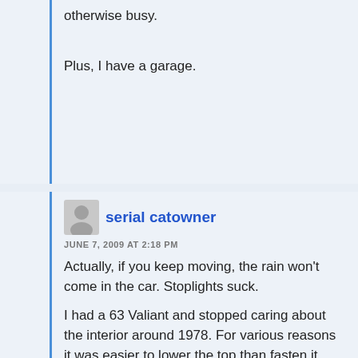otherwise busy.
Plus, I have a garage.
serial catowner
JUNE 7, 2009 AT 2:18 PM
Actually, if you keep moving, the rain won't come in the car. Stoplights suck.
I had a 63 Valiant and stopped caring about the interior around 1978. For various reasons it was easier to lower the top than fasten it shut (real Detroit quality there!) and, living on Lake Union, never more than two or three